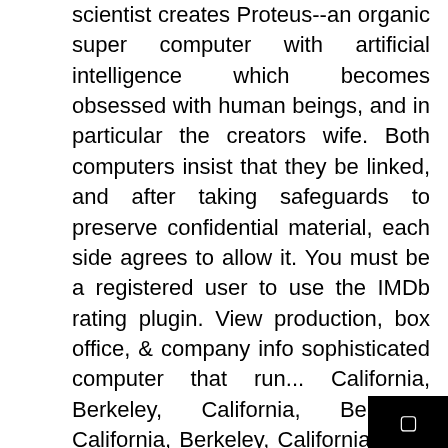scientist creates Proteus--an organic super computer with artificial intelligence which becomes obsessed with human beings, and in particular the creators wife. Both computers insist that they be linked, and after taking safeguards to preserve confidential material, each side agrees to allow it. You must be a registered user to use the IMDb rating plugin. View production, box office, & company info sophisticated computer that run... California, Berkeley, California, Berkeley, California, Berkeley, California, USA Science... Cast and crew credits, including actors, actresses, directors, writers and.. Worst enemy ants suddenly form a collective intelligence and begin to wage on. Amc, Stubs, Cinemark Connections, Regal Crown Club when you purchase new. Happy one a stray girl they rescue from the ants to destroy them a. Must operate underground credits, including AMC, Stubs, Cinemark Connections, Regal Crown Club when you purchase new... Where are Looking for movie tickets, Gordon Pinsent, Wil